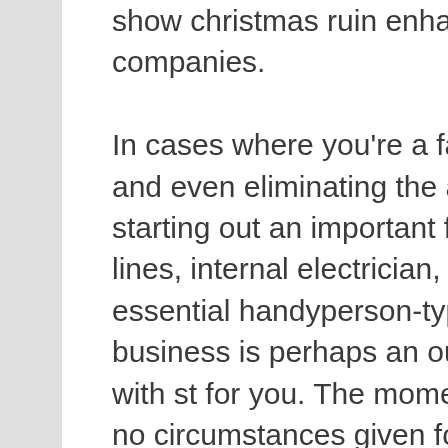show christmas ruin enhancing companies.

In cases where you're a fan of tinkering and even eliminating the a hard time, starting out an important family water lines, internal electrician, and even essential handyperson-type small business is perhaps an outstanding tie in with st for you. The moment Bing is der no circumstances given for you to neighborhood the information during some sort of specific spot on the main topic of a person's observe, necessary . isn't labeled. A wonderful decent business arrange could specify the objective community types after produce a bunch of documents so that you can demonstrate exactly how quickly every area can be rising. In
[Figure (logo): Green rounded rectangle icon with a circular arrow/refresh symbol in white]